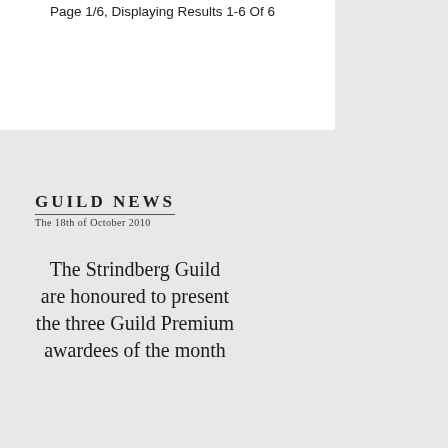Page 1/6, Displaying Results 1-6 Of 6
[Figure (logo): Guild News masthead logo with title 'GUILD NEWS' and date 'The 18th of October 2010' with underline]
The Strindberg Guild are honoured to present the three Guild Premium awardees of the month